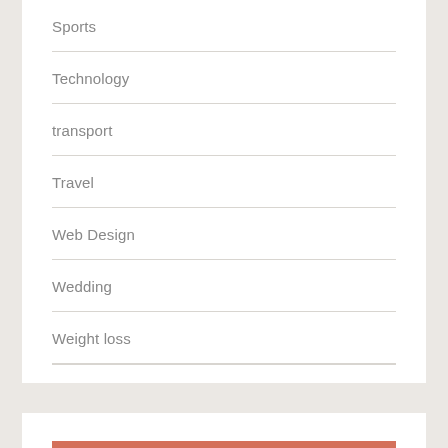Sports
Technology
transport
Travel
Web Design
Wedding
Weight loss
META